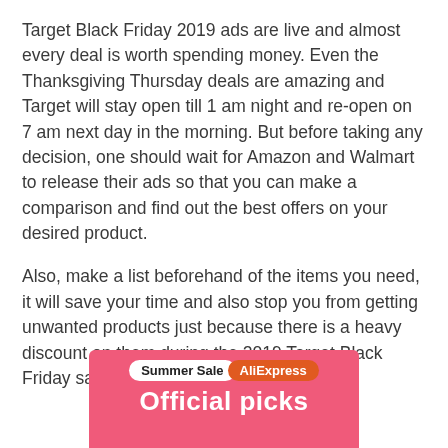Target Black Friday 2019 ads are live and almost every deal is worth spending money. Even the Thanksgiving Thursday deals are amazing and Target will stay open till 1 am night and re-open on 7 am next day in the morning. But before taking any decision, one should wait for Amazon and Walmart to release their ads so that you can make a comparison and find out the best offers on your desired product.
Also, make a list beforehand of the items you need, it will save your time and also stop you from getting unwanted products just because there is a heavy discount on them during the 2019 Target Black Friday sales.
[Figure (other): AliExpress advertisement banner showing 'Summer Sale' badge, 'AliExpress' badge in orange, and 'Official picks' text on a pink/red background.]